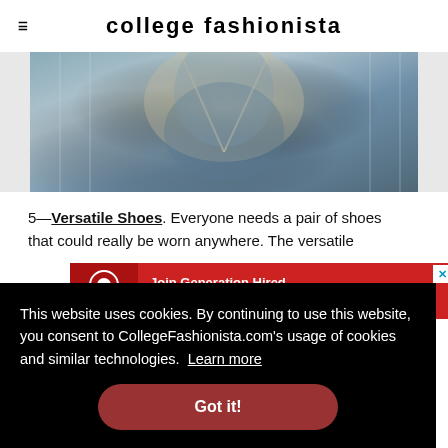college fashionista
[Figure (photo): Partial photo of person wearing a bleached/tie-dye denim jacket, cropped at top portion]
5—Versatile Shoes. Everyone needs a pair of shoes that could really be worn anywhere. The versatile
[Figure (screenshot): Advertisement banner for Generation Hired: 'Join Generation Hired, your virtual career center.' with red background and logo]
new
k
et
e an
ome
This website uses cookies. By continuing to use this website, you consent to CollegeFashionista.com's usage of cookies and similar technologies. Learn more
Got it!